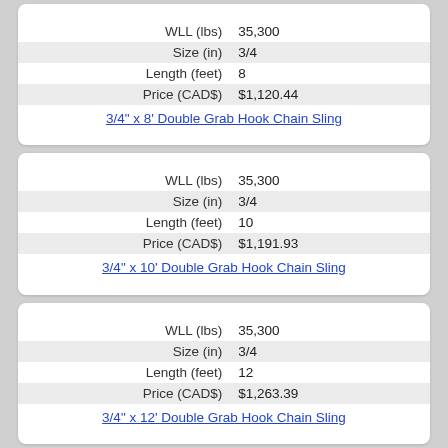| Property | Value |
| --- | --- |
| WLL (lbs) | 35,300 |
| Size (in) | 3/4 |
| Length (feet) | 8 |
| Price (CAD$) | $1,120.44 |
3/4" x 8' Double Grab Hook Chain Sling
| Property | Value |
| --- | --- |
| WLL (lbs) | 35,300 |
| Size (in) | 3/4 |
| Length (feet) | 10 |
| Price (CAD$) | $1,191.93 |
3/4" x 10' Double Grab Hook Chain Sling
| Property | Value |
| --- | --- |
| WLL (lbs) | 35,300 |
| Size (in) | 3/4 |
| Length (feet) | 12 |
| Price (CAD$) | $1,263.39 |
3/4" x 12' Double Grab Hook Chain Sling